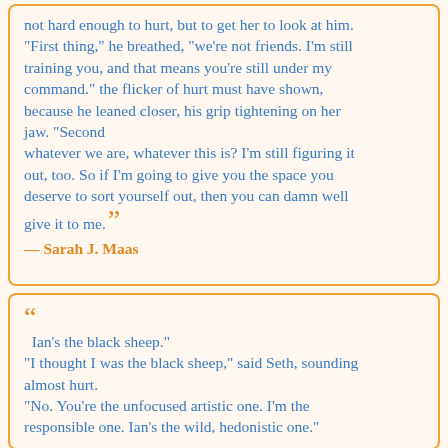not hard enough to hurt, but to get her to look at him. "First thing," he breathed, "we're not friends. I'm still training you, and that means you're still under my command." the flicker of hurt must have shown, because he leaned closer, his grip tightening on her jaw. "Second whatever we are, whatever this is? I'm still figuring it out, too. So if I'm going to give you the space you deserve to sort yourself out, then you can damn well give it to me."
— Sarah J. Maas
Ian's the black sheep." "I thought I was the black sheep," said Seth, sounding almost hurt. "No. You're the unfocused artistic one. I'm the responsible one. Ian's the wild, hedonistic one."